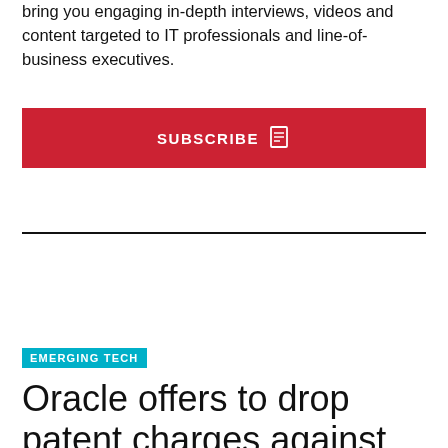bring you engaging in-depth interviews, videos and content targeted to IT professionals and line-of-business executives.
[Figure (other): Red Subscribe button with document icon]
EMERGING TECH
Oracle offers to drop patent charges against